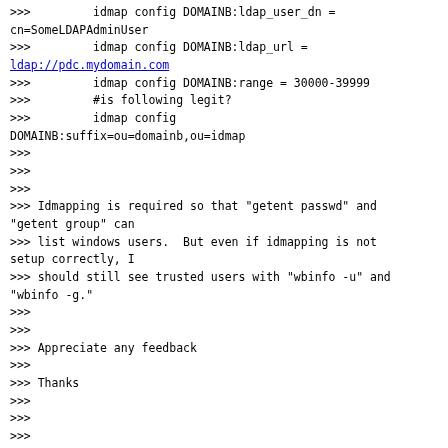>>>         idmap config DOMAINB:ldap_user_dn = cn=SomeLDAPAdminUser
>>>         idmap config DOMAINB:ldap_url =
ldap://pdc.mydomain.com
>>>         idmap config DOMAINB:range = 30000-39999
>>>         #is following legit?
>>>         idmap config
DOMAINB:suffix=ou=domainb,ou=idmap
>>>
>>>
>>>
>>> Idmapping is required so that "getent passwd" and "getent group" can
>>> list windows users.  But even if idmapping is not setup correctly, I
>>> should still see trusted users with "wbinfo -u" and "wbinfo -g."
>>>
>>>
>>> Appreciate any feedback
>>>
>>> Thanks
>>>
>>>
>>>
>>>
>>>
>>
>